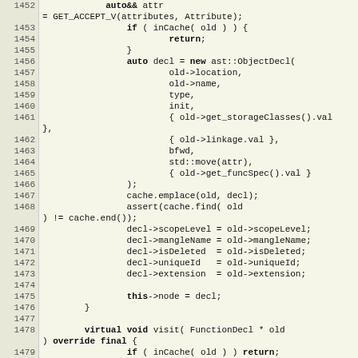[Figure (screenshot): Source code listing in C++ showing lines 1452-1480, featuring an AST visitor pattern implementation with object and function declaration handling, cache management, and scope/identifier assignment.]